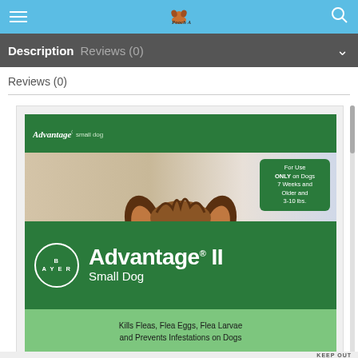Pooch Appeal - navigation bar with hamburger menu and search icon
Description   Reviews (0)
Reviews (0)
[Figure (photo): Advantage II Small Dog flea treatment box by Bayer. Features a Yorkshire Terrier dog. Green box with text: For Use ONLY on Dogs 7 Weeks and Older and 3-10 lbs. Bayer logo circle. Brand name: Advantage II Small Dog. Kills Fleas, Flea Eggs, Flea Larvae and Prevents Infestations on Dogs. KEEP OUT text visible at bottom.]